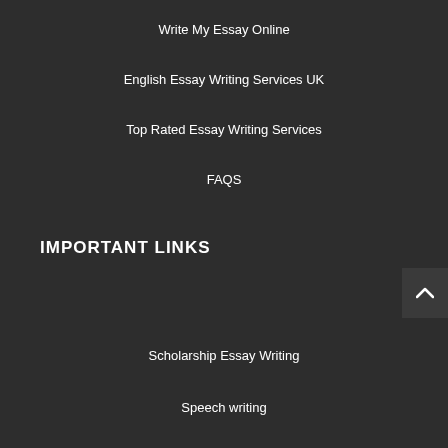Write My Essay Online
English Essay Writing Services UK
Top Rated Essay Writing Services
FAQS
IMPORTANT LINKS
Scholarship Essay Writing
Speech writing